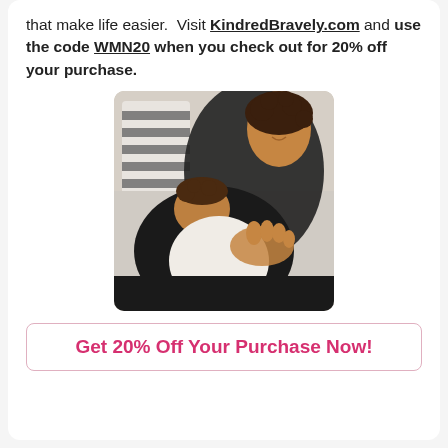that make life easier.  Visit KindredBravely.com and use the code WMN20 when you check out for 20% off your purchase.
[Figure (photo): A woman with curly dark hair wearing a black top sits on a couch and breastfeeds a baby wrapped in a white cloth, with a striped pillow in the background.]
Get 20% Off Your Purchase Now!